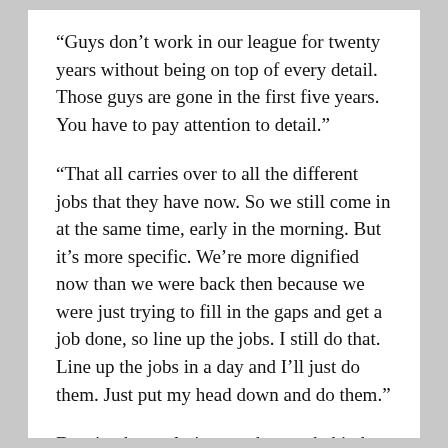“Guys don’t work in our league for twenty years without being on top of every detail. Those guys are gone in the first five years. You have to pay attention to detail.”
“That all carries over to all the different jobs that they have now. So we still come in at the same time, early in the morning. But it’s more specific. We’re more dignified now than we were back then because we were just trying to fill in the gaps and get a job done, so line up the jobs. I still do that. Line up the jobs in a day and I’ll just do them. Just put my head down and do them.”
Despite the evolutionary changes behind the scenes in terms of adding staff and compartmentalizing their duties and